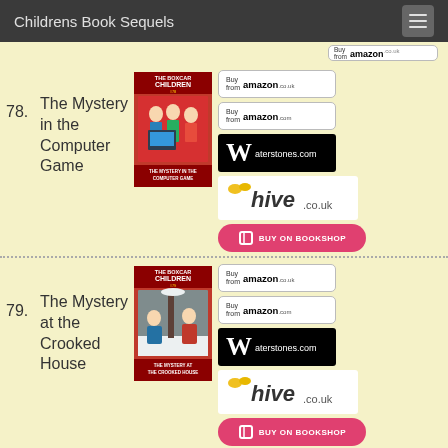Childrens Book Sequels
78. The Mystery in the Computer Game
[Figure (photo): Book cover of The Boxcar Children: The Mystery in the Computer Game]
79. The Mystery at the Crooked House
[Figure (photo): Book cover of The Boxcar Children: The Mystery at the Crooked House]